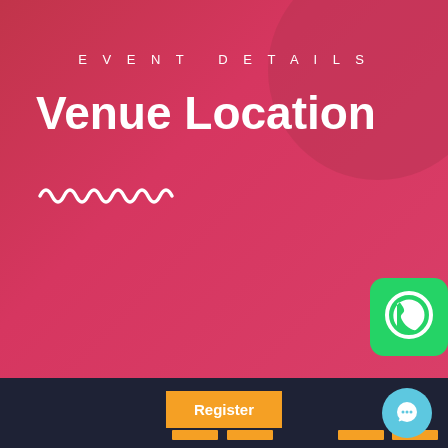EVENT DETAILS
Venue Location
[Figure (illustration): Squiggly/wavy white decorative line under the title]
[Figure (logo): WhatsApp icon - green rounded square with white phone/chat bubble icon]
Register
[Figure (illustration): Orange navigation bar segments at the bottom, with a Register button in the center]